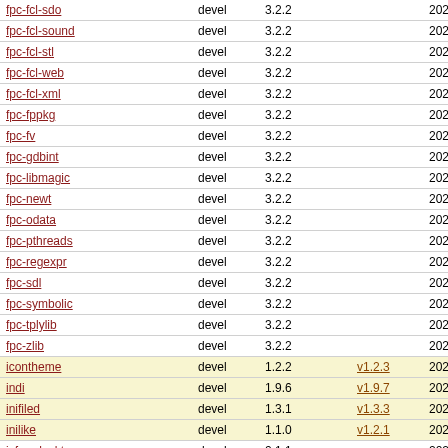| Package | Category | Version | New Version | Date |
| --- | --- | --- | --- | --- |
| fpc-fcl-sdo | devel | 3.2.2 |  | 2022-09-0... |
| fpc-fcl-sound | devel | 3.2.2 |  | 2022-09-0... |
| fpc-fcl-stl | devel | 3.2.2 |  | 2022-09-0... |
| fpc-fcl-web | devel | 3.2.2 |  | 2022-09-0... |
| fpc-fcl-xml | devel | 3.2.2 |  | 2022-09-0... |
| fpc-fppkg | devel | 3.2.2 |  | 2022-09-0... |
| fpc-fv | devel | 3.2.2 |  | 2022-09-0... |
| fpc-gdbint | devel | 3.2.2 |  | 2022-09-0... |
| fpc-libmagic | devel | 3.2.2 |  | 2022-09-0... |
| fpc-newt | devel | 3.2.2 |  | 2022-09-0... |
| fpc-odata | devel | 3.2.2 |  | 2022-09-0... |
| fpc-pthreads | devel | 3.2.2 |  | 2022-09-0... |
| fpc-regexpr | devel | 3.2.2 |  | 2022-09-0... |
| fpc-sdl | devel | 3.2.2 |  | 2022-09-0... |
| fpc-symbolic | devel | 3.2.2 |  | 2022-09-0... |
| fpc-tplylib | devel | 3.2.2 |  | 2022-09-0... |
| fpc-zlib | devel | 3.2.2 |  | 2022-09-0... |
| icontheme | devel | 1.2.2 | v1.2.3 | 2022-09-0... |
| indi | devel | 1.9.6 | v1.9.7 | 2022-09-0... |
| inifiled | devel | 1.3.1 | v1.3.3 | 2022-09-0... |
| inilike | devel | 1.1.0 | v1.2.1 | 2022-09-0... |
| isfreedesktop | devel | 0.1.1 |  | 2022-09-0... |
| libddoc | devel | 0.6.0 | v0.8.0 | 2022-09-0... |
| libdparse | devel | 0.11.4 | v0.20.0 | 2022-09-0... |
| libzrtpcpp | devel | 2.3.4 |  | 2022-09-0... |
| mir-core | devel | 0.2.1 | v1.1.62 | 2022-09-0... |
| msgpack-d | devel | 1.0.0-beta8 | v1.0.4 | 2022-09-0... |
| ode | devel | 0.13 |  | 2022-09-0... |
| p5-File-DesktopEntry | devel | 0.22 |  | 2022-09-0... |
| p5-Gtk2-Spell | devel | 1.04 | 1.05 | 2022-09-0... |